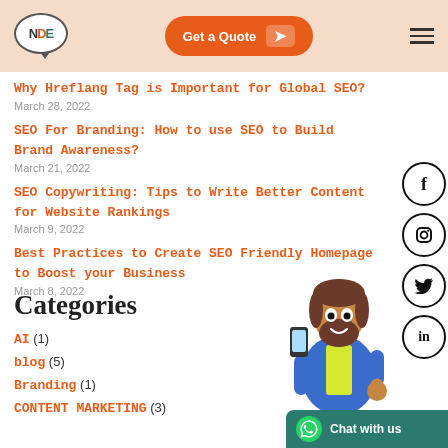NDE logo | Get a Quote | Navigation
Why Hreflang Tag is Important for Global SEO?
March 28, 2022
SEO For Branding: How to use SEO to Build Brand Awareness?
March 21, 2022
SEO Copywriting: Tips to Write Better Content for Website Rankings
March 9, 2022
Best Practices to Create SEO Friendly Homepage to Boost your Business
March 8, 2022
Categories
AI (1)
blog (5)
Branding (1)
CONTENT MARKETING (3)
[Figure (illustration): Cartoon man with beard in blue shirt holding a phone, making OK gesture. Social media icons (Facebook, Instagram, Twitter, LinkedIn) arranged around him on the right side.]
[Figure (other): Chat with us button (WhatsApp style) in teal/green color at bottom right]